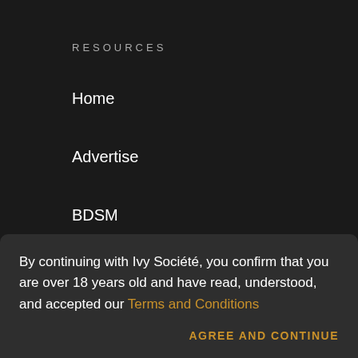RESOURCES
Home
Advertise
BDSM
Pricing
Webinars
Blog
By continuing with Ivy Société, you confirm that you are over 18 years old and have read, understood, and accepted our Terms and Conditions
AGREE AND CONTINUE